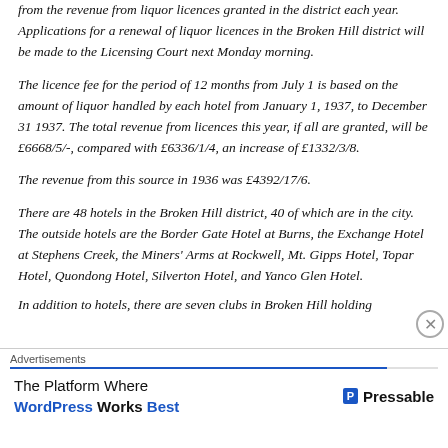from the revenue from liquor licences granted in the district each year. Applications for a renewal of liquor licences in the Broken Hill district will be made to the Licensing Court next Monday morning.
The licence fee for the period of 12 months from July 1 is based on the amount of liquor handled by each hotel from January 1, 1937, to December 31 1937. The total revenue from licences this year, if all are granted, will be £6668/5/-, compared with £6336/1/4, an increase of £1332/3/8.
The revenue from this source in 1936 was £4392/17/6.
There are 48 hotels in the Broken Hill district, 40 of which are in the city. The outside hotels are the Border Gate Hotel at Burns, the Exchange Hotel at Stephens Creek, the Miners' Arms at Rockwell, Mt. Gipps Hotel, Topar Hotel, Quondong Hotel, Silverton Hotel, and Yanco Glen Hotel.
In addition to hotels, there are seven clubs in Broken Hill holding
Advertisements